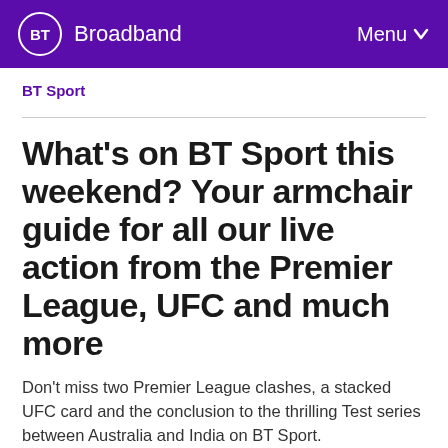BT Broadband — Menu
BT Sport
What's on BT Sport this weekend? Your armchair guide for all our live action from the Premier League, UFC and much more
Don't miss two Premier League clashes, a stacked UFC card and the conclusion to the thrilling Test series between Australia and India on BT Sport.
By Callum Davis
Published 15 January 2021, 4:46